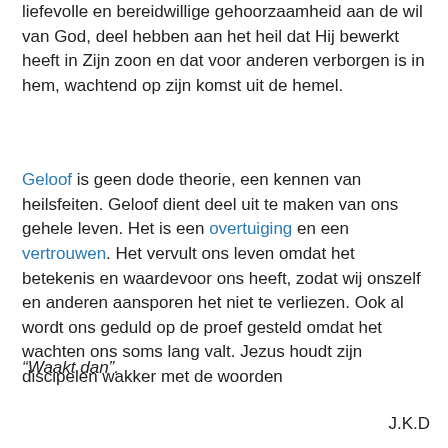liefevolle en bereidwillige gehoorzaamheid aan de wil van God, deel hebben aan het heil dat Hij bewerkt heeft in Zijn zoon en dat voor anderen verborgen is in hem, wachtend op zijn komst uit de hemel.
Geloof is geen dode theorie, een kennen van heilsfeiten. Geloof dient deel uit te maken van ons gehele leven. Het is een overtuiging en een vertrouwen. Het vervult ons leven omdat het betekenis en waardevoor ons heeft, zodat wij onszelf en anderen aansporen het niet te verliezen. Ook al wordt ons geduld op de proef gesteld omdat het wachten ons soms lang valt. Jezus houdt zijn discipelen wakker met de woorden
“Waakt dan”.
J.K.D